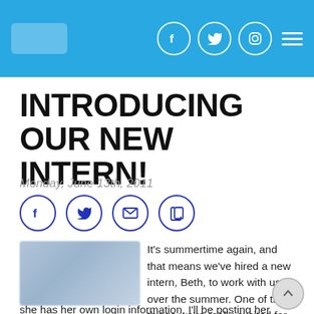[Site logo] [Facebook] [Twitter] [Instagram] [Menu]
INTRODUCING OUR NEW INTERN!
Monday, June 13th, 2011
[Figure (other): Social share icons: Facebook, Twitter, Email, Copy link — circular outlined buttons in dark blue]
[Figure (photo): Blurred/redacted photo of the new intern Beth]
It's summertime again, and that means we've hired a new intern, Beth, to work with us over the summer. One of the things we're really excited for Beth to start helping us on is blogging, but until she has her own login information, I'll be posting her blogs on